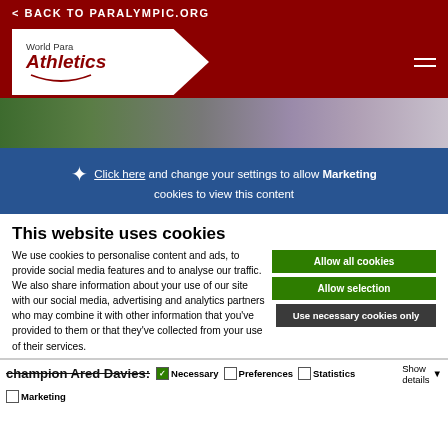< BACK TO PARALYMPIC.ORG
[Figure (logo): World Para Athletics logo with red text on white chevron shape against dark red background with hamburger menu icon]
[Figure (photo): Sports action photo showing athletes, partially visible green field and equipment]
Click here and change your settings to allow Marketing cookies to view this content
This website uses cookies
We use cookies to personalise content and ads, to provide social media features and to analyse our traffic. We also share information about your use of our site with our social media, advertising and analytics partners who may combine it with other information that you've provided to them or that they've collected from your use of their services.
Allow all cookies
Allow selection
Use necessary cookies only
champion Ared Davies:
Necessary  Preferences  Statistics  Marketing  Show details